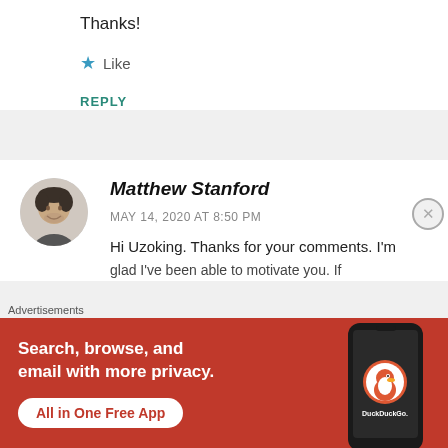Thanks!
★ Like
REPLY
[Figure (photo): Avatar photo of Matthew Stanford, a man with short dark hair smiling, shown in a circular crop]
Matthew Stanford
MAY 14, 2020 AT 8:50 PM
Hi Uzoking. Thanks for your comments. I'm glad I've been able to motivate you. If
Advertisements
[Figure (screenshot): DuckDuckGo advertisement banner with orange/red background. Text: 'Search, browse, and email with more privacy. All in One Free App' with DuckDuckGo logo and phone image.]